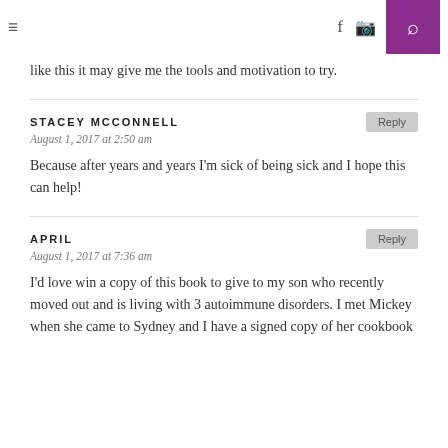≡  f  [instagram]  [search]
like this it may give me the tools and motivation to try.
STACEY MCCONNELL
August 1, 2017 at 2:50 am
Because after years and years I'm sick of being sick and I hope this can help!
APRIL
August 1, 2017 at 7:36 am
I'd love win a copy of this book to give to my son who recently moved out and is living with 3 autoimmune disorders. I met Mickey when she came to Sydney and I have a signed copy of her cookbook